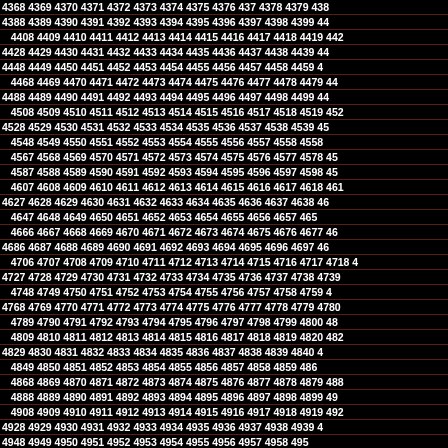Sequential numbers from 4368 to 4998, displayed in rows across a black background